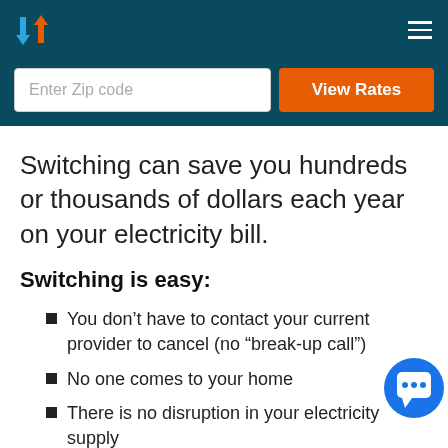[Figure (logo): Navigation header with arrow logo and hamburger menu on dark teal background]
[Figure (screenshot): Zip code input field and orange View Rates button on dark teal background]
Switching can save you hundreds or thousands of dollars each year on your electricity bill.
Switching is easy:
You don't have to contact your current provider to cancel (no “break-up call”)
No one comes to your home
There is no disruption in your electricity supply